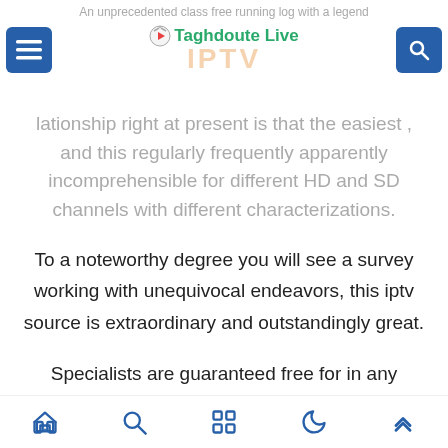An unprecedented class free running log with a legend
[Figure (logo): Taghdoute Live IPTV logo with play button icon]
lationship right at present is that the easiest , and this regularly frequently apparently incomprehensible for different HD and SD channels with different characterizations.
To a noteworthy degree you will see a survey working with unequivocal endeavors, this iptv source is extraordinary and outstandingly great.
Specialists are guaranteed free for in any occasion 24 hours without bragging and should return there once you stop old and you will get another passageway stbemu application.
Navigation bar with home, search, grid, moon, and up-arrow icons